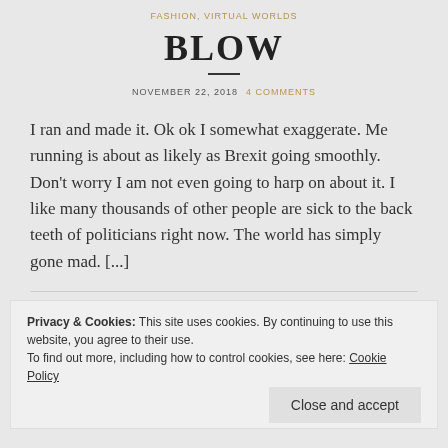FASHION, VIRTUAL WORLDS
BLOW
NOVEMBER 22, 2018  4 COMMENTS
I ran and made it. Ok ok I somewhat exaggerate. Me running is about as likely as Brexit going smoothly. Don't worry I am not even going to harp on about it. I like many thousands of other people are sick to the back teeth of politicians right now. The world has simply gone mad. [...]
Privacy & Cookies: This site uses cookies. By continuing to use this website, you agree to their use.
To find out more, including how to control cookies, see here: Cookie Policy